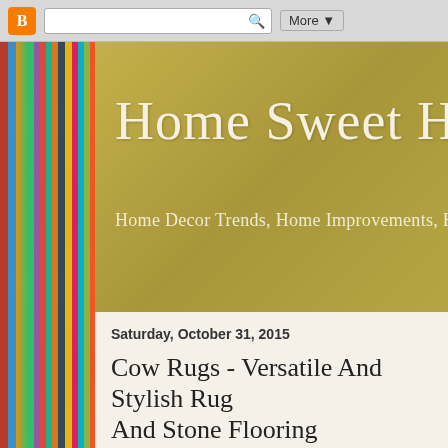Blogger | Search | More
[Figure (photo): Bookshelf sidebar with colorful books arranged vertically]
Home Sweet Home
Home Decor Trends, Home Improvements, Ho...
Saturday, October 31, 2015
Cow Rugs - Versatile And Stylish Rug... And Stone Flooring
Many people want to incorporate a beautiful natural ele... struggle to find the right decorative pieces to add to their r... and vases throughout your space is one idea, you may be... bring natural elements into your home. A more unique idea